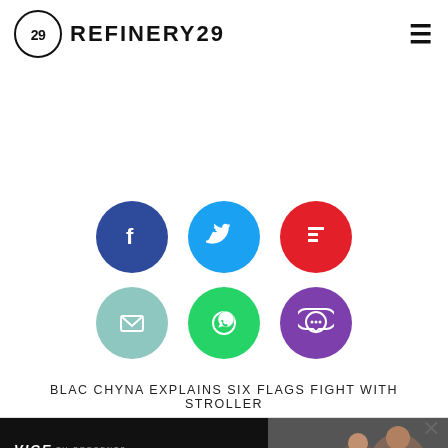REFINERY29
[Figure (infographic): Six social share buttons arranged in two rows: Facebook (dark blue), Twitter (light blue), Flipboard (red) in top row; Email (teal), WhatsApp (green), Comments (purple) in bottom row.]
BLAC CHYNA EXPLAINS SIX FLAGS FIGHT WITH STROLLER
[Figure (screenshot): VICE TV ad banner showing 'VICE TV PRESENTS' and 'RUNNING WHILE BLACK' text with image of people in background. Navigation bar shows PO... WS.]